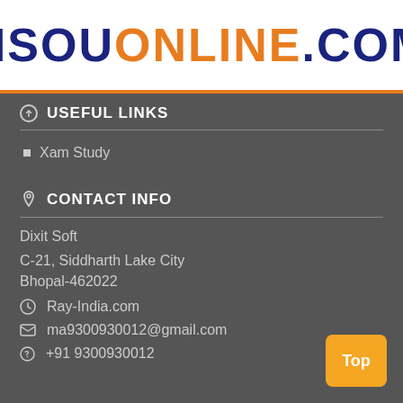NSOUONLINE.COM
USEFUL LINKS
Xam Study
CONTACT INFO
Dixit Soft
C-21, Siddharth Lake City Bhopal-462022
Ray-India.com
ma9300930012@gmail.com
+91 9300930012